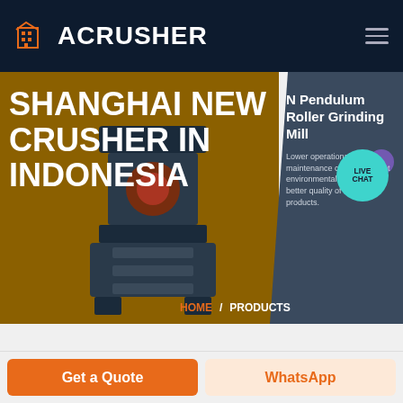ACRUSHER
SHANGHAI NEW CRUSHER IN INDONESIA
N Pendulum Roller Grinding Mill
Lower operational & maintenance costs, excellent environmental protection, better quality of finished products.
HOME / PRODUCTS
[Figure (screenshot): ACrusher website screenshot showing crusher machine, logo, live chat button, product card, and navigation breadcrumb]
Get a Quote
WhatsApp